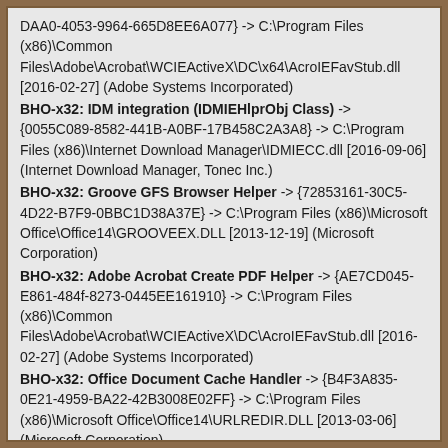DAA0-4053-9964-665D8EE6A077} -> C:\Program Files (x86)\Common Files\Adobe\Acrobat\WCIEActiveX\DC\x64\AcroIEFavStub.dll [2016-02-27] (Adobe Systems Incorporated)
BHO-x32: IDM integration (IDMIEHlprObj Class) -> {0055C089-8582-441B-A0BF-17B458C2A3A8} -> C:\Program Files (x86)\Internet Download Manager\IDMIECC.dll [2016-09-06] (Internet Download Manager, Tonec Inc.)
BHO-x32: Groove GFS Browser Helper -> {72853161-30C5-4D22-B7F9-0BBC1D38A37E} -> C:\Program Files (x86)\Microsoft Office\Office14\GROOVEEX.DLL [2013-12-19] (Microsoft Corporation)
BHO-x32: Adobe Acrobat Create PDF Helper -> {AE7CD045-E861-484f-8273-0445EE161910} -> C:\Program Files (x86)\Common Files\Adobe\Acrobat\WCIEActiveX\DC\AcroIEFavStub.dll [2016-02-27] (Adobe Systems Incorporated)
BHO-x32: Office Document Cache Handler -> {B4F3A835-0E21-4959-BA22-42B3008E02FF} -> C:\Program Files (x86)\Microsoft Office\Office14\URLREDIR.DLL [2013-03-06] (Microsoft Corporation)
BHO-x32: Adobe Acrobat Create PDF from Selection -> {F4971EE7-DAA0-4053-9964-665D8EE6A077} -> C:\Program Files (x86)\Common